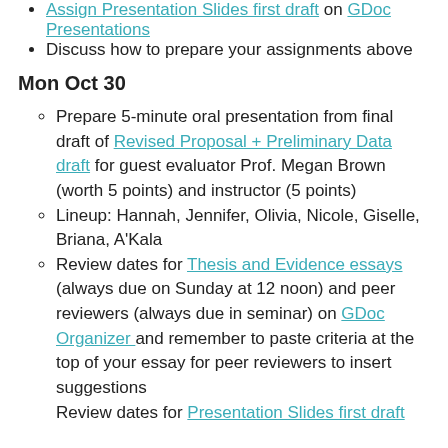Assign Presentation Slides first draft on GDoc Presentations
Discuss how to prepare your assignments above
Mon Oct 30
Prepare 5-minute oral presentation from final draft of Revised Proposal + Preliminary Data draft for guest evaluator Prof. Megan Brown (worth 5 points) and instructor (5 points)
Lineup: Hannah, Jennifer, Olivia, Nicole, Giselle, Briana, A'Kala
Review dates for Thesis and Evidence essays (always due on Sunday at 12 noon) and peer reviewers (always due in seminar) on GDoc Organizer and remember to paste criteria at the top of your essay for peer reviewers to insert suggestions
Review dates for Presentation Slides first draft